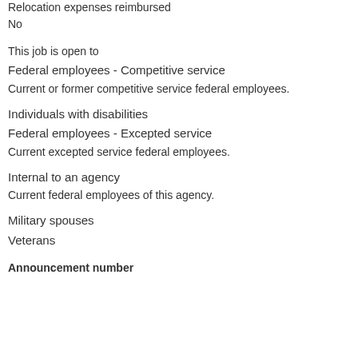Relocation expenses reimbursed
No
This job is open to
Federal employees - Competitive service
Current or former competitive service federal employees.
Individuals with disabilities
Federal employees - Excepted service
Current excepted service federal employees.
Internal to an agency
Current federal employees of this agency.
Military spouses
Veterans
Announcement number